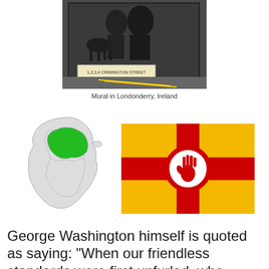[Figure (photo): Photograph of a mural on a wall in Londonderry, Ireland showing historical figures in black and white with a street sign visible]
Mural in Londonderry, Ireland
[Figure (map): Map of Ireland with the northern provinces highlighted in green]
[Figure (illustration): Flag of Ulster - gold/yellow background with red cross and red hand in white circle in center]
George Washington himself is quoted as saying: "When our friendless standards were first unfurled, who